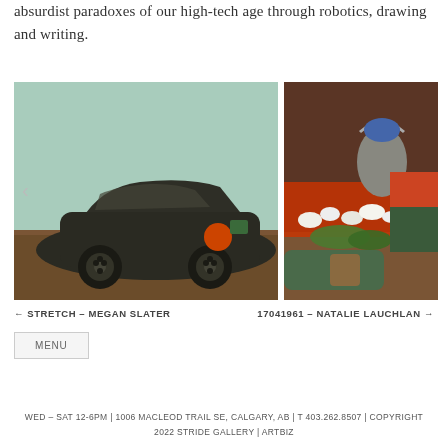absurdist paradoxes of our high-tech age through robotics, drawing and writing.
[Figure (photo): Two art installation photos side by side. Left: a large fabric-covered car sculpture in dark green/black material on a wooden floor with a teal-painted wall behind it. Right: a colorful textile installation with fabric vegetables, fungi, and objects in orange, green, and grey on a wooden floor.]
← STRETCH – MEGAN SLATER     17041961 – NATALIE LAUCHLAN →
MENU
WED – SAT 12-6PM | 1006 MACLEOD TRAIL SE, CALGARY, AB | T 403.262.8507 | COPYRIGHT 2022 STRIDE GALLERY | ARTBIZ